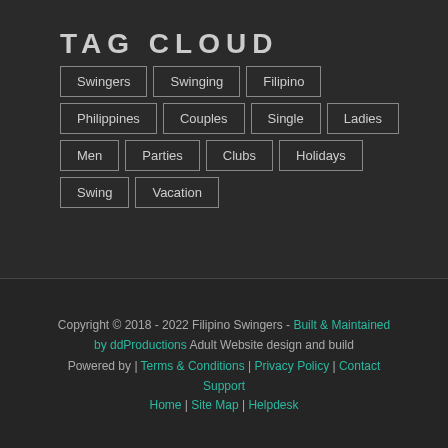TAG CLOUD
Swingers
Swinging
Filipino
Philippines
Couples
Single
Ladies
Men
Parties
Clubs
Holidays
Swing
Vacation
Copyright © 2018 - 2022 Filipino Swingers - Built & Maintained by ddProductions Adult Website design and build Powered by | Terms & Conditions | Privacy Policy | Contact Support Home | Site Map | Helpdesk